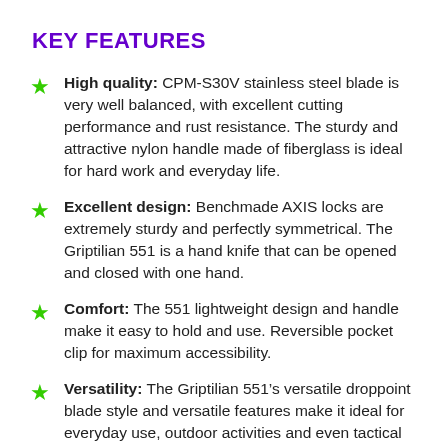KEY FEATURES
High quality: CPM-S30V stainless steel blade is very well balanced, with excellent cutting performance and rust resistance. The sturdy and attractive nylon handle made of fiberglass is ideal for hard work and everyday life.
Excellent design: Benchmade AXIS locks are extremely sturdy and perfectly symmetrical. The Griptilian 551 is a hand knife that can be opened and closed with one hand.
Comfort: The 551 lightweight design and handle make it easy to hold and use. Reversible pocket clip for maximum accessibility.
Versatility: The Griptilian 551’s versatile droppoint blade style and versatile features make it ideal for everyday use, outdoor activities and even tactical applications.
Services and Benefits: Visit the Benchmade website for information and terms of use for the Benchmade Lifetime Warranty and Life-Sha...